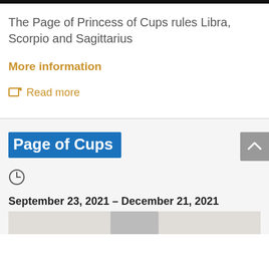The Page of Princess of Cups rules Libra, Scorpio and Sagittarius
More information
Read more
Page of Cups
September 23, 2021 – December 21, 2021